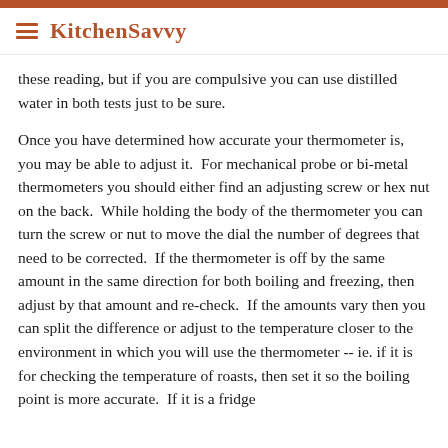KitchenSavvy
these reading, but if you are compulsive you can use distilled water in both tests just to be sure.
Once you have determined how accurate your thermometer is, you may be able to adjust it.  For mechanical probe or bi-metal thermometers you should either find an adjusting screw or hex nut on the back.  While holding the body of the thermometer you can turn the screw or nut to move the dial the number of degrees that need to be corrected.  If the thermometer is off by the same amount in the same direction for both boiling and freezing, then adjust by that amount and re-check.  If the amounts vary then you can split the difference or adjust to the temperature closer to the environment in which you will use the thermometer -- ie. if it is for checking the temperature of roasts, then set it so the boiling point is more accurate.  If it is a fridge